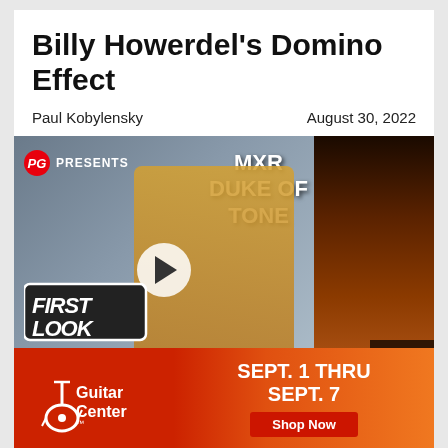Billy Howerdel's Domino Effect
Paul Kobylensky
August 30, 2022
[Figure (screenshot): Video thumbnail showing a man playing guitar with 'PG PRESENTS' logo, 'MXR DUKE OF TONE' text, 'FIRST LOOK' badge, and a play button overlay. Right portion shows a dark concert/stage background.]
[Figure (infographic): Guitar Center advertisement banner with red-to-orange gradient background, Guitar Center logo on left, text 'SEPT. 1 THRU SEPT. 7' in white bold, and a red 'Shop Now' button.]